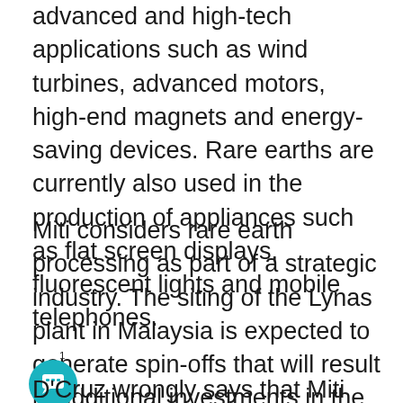advanced and high-tech applications such as wind turbines, advanced motors, high-end magnets and energy-saving devices. Rare earths are currently also used in the production of appliances such as flat screen displays, fluorescent lights and mobile telephones.
Miti considers rare earth processing as part of a strategic industry. The siting of the Lynas plant in Malaysia is expected to generate spin-offs that will result in additional investments in the country, technology transfers and the creation of more high-end jobs. It is an industry of the future that, if properly managed, will benefit Malaysia in the long run.
D'Cruz wrongly says that Miti has “forced” Lynas to locate in Pahang. Miti’s role is to